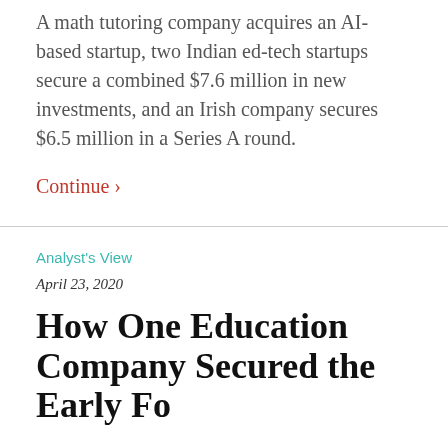A math tutoring company acquires an AI-based startup, two Indian ed-tech startups secure a combined $7.6 million in new investments, and an Irish company secures $6.5 million in a Series A round.
Continue ›
Analyst's View
April 23, 2020
How One Education Company Secured the Early Fo...